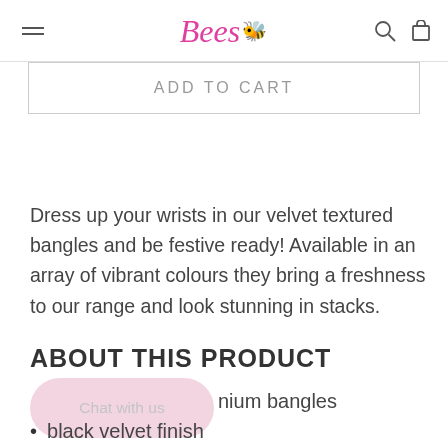Bees [logo with bee icon]
ADD TO CART
Dress up your wrists in our velvet textured bangles and be festive ready!  Available in an array of vibrant colours they bring a freshness to our range and look stunning in stacks.
ABOUT THIS PRODUCT
Chat with us
nium bangles
black velvet finish